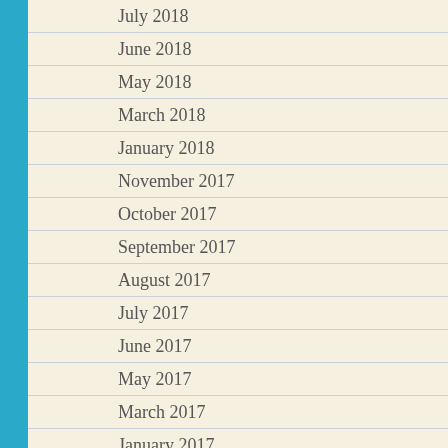July 2018
June 2018
May 2018
March 2018
January 2018
November 2017
October 2017
September 2017
August 2017
July 2017
June 2017
May 2017
March 2017
January 2017